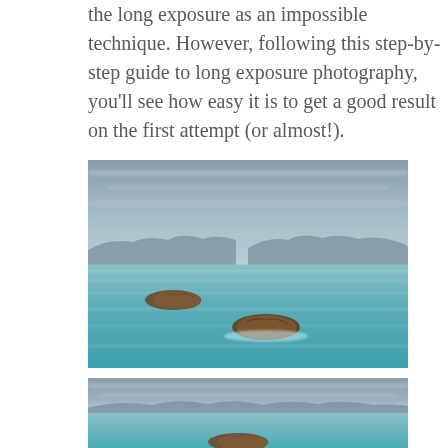the long exposure as an impossible technique. However, following this step-by-step guide to long exposure photography, you'll see how easy it is to get a good result on the first attempt (or almost!).
[Figure (photo): Long exposure seascape photograph showing two rocks amid a silky smooth turquoise ocean with blurred cloudy sky and distant mountain silhouettes on the horizon.]
[Figure (photo): Second long exposure seascape photograph, similar scene with blurred cloudy sky, distant mountains along the horizon, smooth turquoise water, and a rock visible at the bottom.]